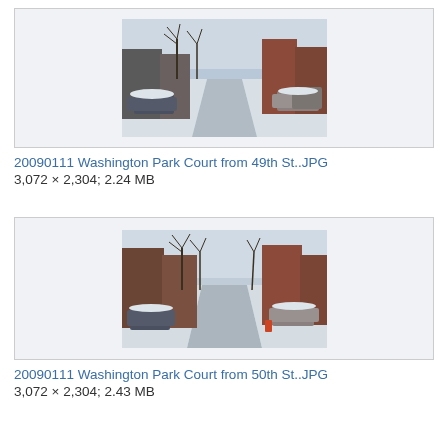[Figure (photo): Winter street scene of Washington Park Court from 49th St., showing snow-covered road with parked cars and bare trees, brick townhouses on right side]
20090111 Washington Park Court from 49th St..JPG
3,072 × 2,304; 2.24 MB
[Figure (photo): Winter street scene of Washington Park Court from 50th St., showing snow-covered road with parked cars and bare trees, brick townhouses on both sides]
20090111 Washington Park Court from 50th St..JPG
3,072 × 2,304; 2.43 MB